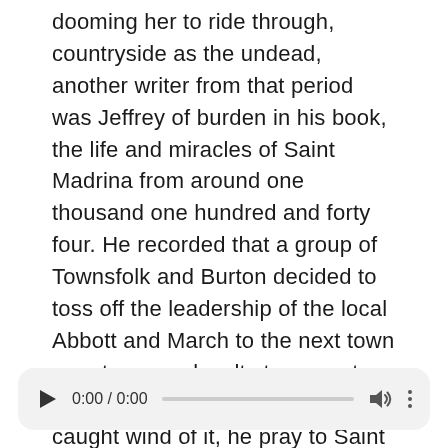dooming her to ride through, countryside as the undead, another writer from that period was Jeffrey of burden in his book, the life and miracles of Saint Madrina from around one thousand one hundred and forty four. He recorded that a group of Townsfolk and Burton decided to toss off the leadership of the local Abbott and March to the next town over to swear loyalty to a great Lord there. But when the abbot caught wind of it, he pray to Saint we for help almost immediately the rebellious town folk were struck dead and were soon buried later that
[Figure (other): Audio player widget with play button, time display showing 0:00 / 0:00, progress bar, volume icon, and more options icon]